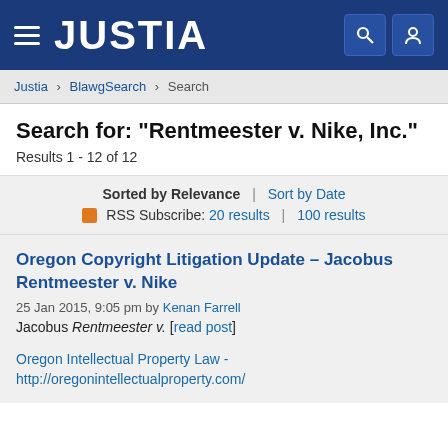JUSTIA
Justia › BlawgSearch › Search
Search for: "Rentmeester v. Nike, Inc."
Results 1 - 12 of 12
Sorted by Relevance | Sort by Date
RSS Subscribe: 20 results | 100 results
Oregon Copyright Litigation Update – Jacobus Rentmeester v. Nike
25 Jan 2015, 9:05 pm by Kenan Farrell
Jacobus Rentmeester v. [read post]
Oregon Intellectual Property Law - http://oregonintellectualproperty.com/